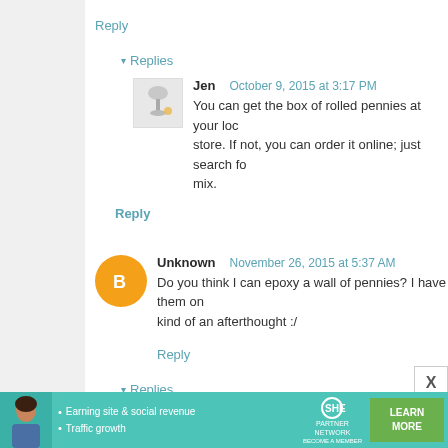Reply
Replies
Jen   October 9, 2015 at 3:17 PM
You can get the box of rolled pennies at your local store. If not, you can order it online; just search for mix.
Reply
Unknown   November 26, 2015 at 5:37 AM
Do you think I can epoxy a wall of pennies? I have them on kind of an afterthought :/
Reply
Replies
Jen   November 28, 2015 at 6:18 PM
No, the bar top epoxy is self-leveling, so it w
[Figure (infographic): SHE Partner Network advertisement banner with person, bullet points about earning site & social revenue and traffic growth, SHE logo, and LEARN MORE button]